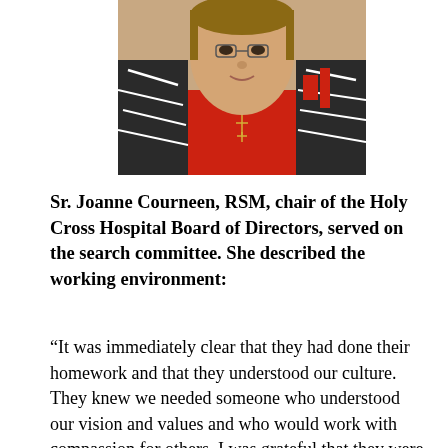[Figure (photo): Portrait photo of Sr. Joanne Courneen, RSM, wearing a patterned black, white, and red jacket with a red top and a cross necklace.]
Sr. Joanne Courneen, RSM, chair of the Holy Cross Hospital Board of Directors, served on the search committee. She described the working environment:
“It was immediately clear that they had done their homework and that they understood our culture. They knew we needed someone who understood our vision and values and who would work with compassion for others. I was grateful that they were sensitive to the thoughts of the